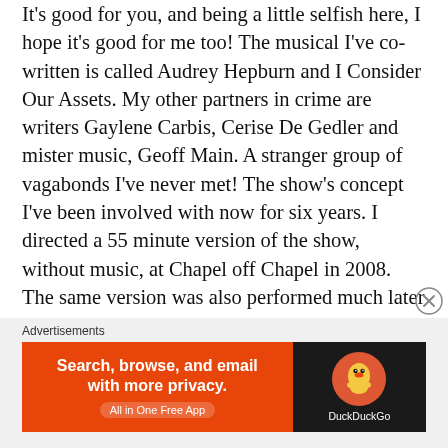It's good for you, and being a little selfish here, I hope it's good for me too! The musical I've co-written is called Audrey Hepburn and I Consider Our Assets. My other partners in crime are writers Gaylene Carbis, Cerise De Gedler and mister music, Geoff Main. A stranger group of vagabonds I've never met! The show's concept I've been involved with now for six years. I directed a 55 minute version of the show, without music, at Chapel off Chapel in 2008. The same version was also performed much later at 45 Downstairs, directed by Lucy Freeman. An Australian musical is a rare beast, I bet you can't think of many with original music, right? And, one with a Hollywood twist that's set in Melbourne is even harder to find. Dusty and Shout were both successful Australian shows but they used well
Advertisements
[Figure (other): DuckDuckGo advertisement banner: orange left panel with text 'Search, browse, and email with more privacy. All in One Free App' and dark right panel with DuckDuckGo logo and name.]